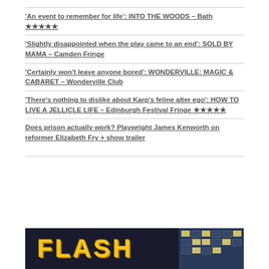'An event to remember for life': INTO THE WOODS – Bath ★★★★★
'Slightly disappointed when the play came to an end': SOLD BY MAMA – Camden Fringe
'Certainly won't leave anyone bored': WONDERVILLE: MAGIC & CABARET – Wonderville Club
'There's nothing to dislike about Karp's feline alter ego': HOW TO LIVE A JELLICLE LIFE – Edinburgh Festival Fringe ★★★★★
Does prison actually work? Playwright James Kenworth on reformer Elizabeth Fry + show trailer
[Figure (photo): Partial image showing large yellow 'FLASH' text on dark background with building/windows visible on right side]